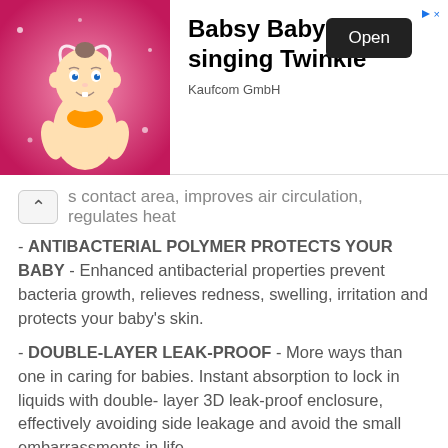[Figure (infographic): Advertisement banner: Babsy Baby singing Twinkle by Kaufcom GmbH with cartoon baby image, Open button, and close X button]
s contact area, improves air circulation, regulates heat
- ANTIBACTERIAL POLYMER PROTECTS YOUR BABY - Enhanced antibacterial properties prevent bacteria growth, relieves redness, swelling, irritation and protects your baby's skin.
- DOUBLE-LAYER LEAK-PROOF - More ways than one in caring for babies. Instant absorption to lock in liquids with double-layer 3D leak-proof enclosure, effectively avoiding side leakage and avoid the small embarrassments in life.
- Contains Shea Butter rich in Vitamin E to nourish the skin
- Sizes : S to XXL